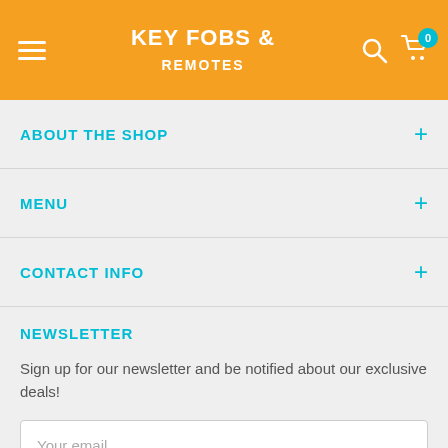KEY FOBS & REMOTES
ABOUT THE SHOP
MENU
CONTACT INFO
NEWSLETTER
Sign up for our newsletter and be notified about our exclusive deals!
Your email